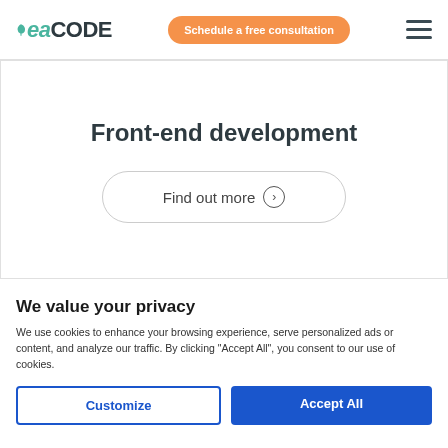TeaCODE | Schedule a free consultation
Front-end development
Find out more ›
We value your privacy
We use cookies to enhance your browsing experience, serve personalized ads or content, and analyze our traffic. By clicking "Accept All", you consent to our use of cookies.
Customize | Accept All